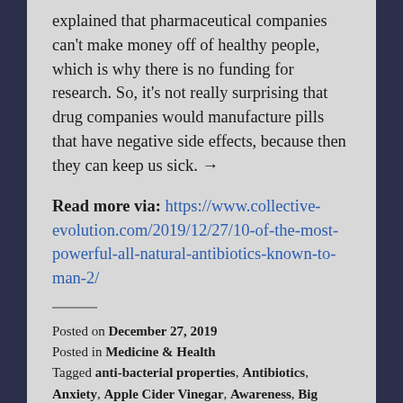explained that pharmaceutical companies can't make money off of healthy people, which is why there is no funding for research. So, it's not really surprising that drug companies would manufacture pills that have negative side effects, because then they can keep us sick. →
Read more via: https://www.collective-evolution.com/2019/12/27/10-of-the-most-powerful-all-natural-antibiotics-known-to-man-2/
Posted on December 27, 2019
Posted in Medicine & Health
Tagged anti-bacterial properties, Antibiotics, Anxiety, Apple Cider Vinegar, Awareness, Big Pharma, Chemicals, Colloidal silver, Curcumin, Ddepression, Debilitating tendinitis, Difficulty breathing, Dizziness, Doctors, Drug Companies, Drugs, Excruciating joint pain, Exhaustion, Garlic, ginger extract, Habanero Peppers, Health, Horseradish Root,